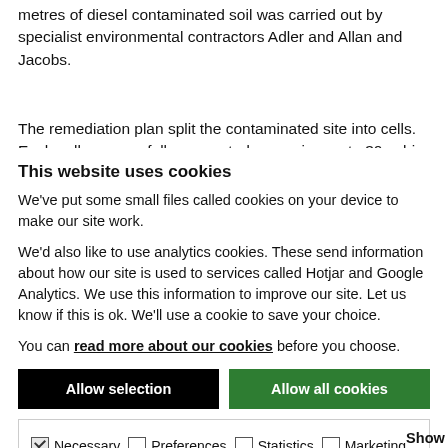metres of diesel contaminated soil was carried out by specialist environmental contractors Adler and Allan and Jacobs.
The remediation plan split the contaminated site into cells. Each cell was carefully excavated, removing up to 30 cubic
This website uses cookies
We've put some small files called cookies on your device to make our site work.
We'd also like to use analytics cookies. These send information about how our site is used to services called Hotjar and Google Analytics. We use this information to improve our site. Let us know if this is ok. We'll use a cookie to save your choice.
You can read more about our cookies before you choose.
Allow selection | Allow all cookies
Necessary | Preferences | Statistics | Marketing | Show details